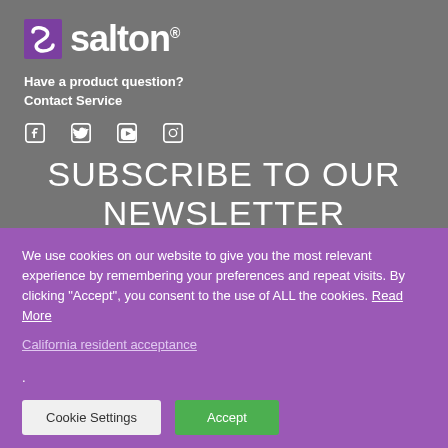[Figure (logo): Salton brand logo with purple icon and white text]
Have a product question?
Contact Service
[Figure (other): Social media icons: Facebook, Twitter, YouTube, Instagram]
SUBSCRIBE TO OUR NEWSLETTER
*indicates required
We use cookies on our website to give you the most relevant experience by remembering your preferences and repeat visits. By clicking "Accept", you consent to the use of ALL the cookies. Read More
California resident acceptance.